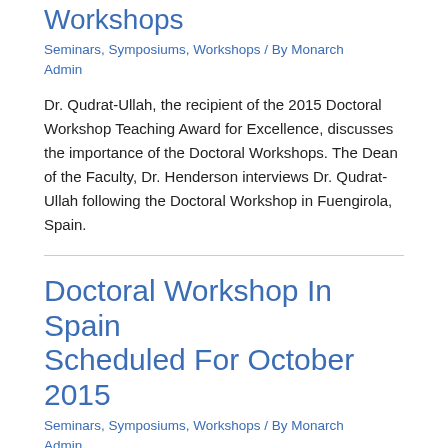Workshops
Seminars, Symposiums, Workshops / By Monarch Admin
Dr. Qudrat-Ullah, the recipient of the 2015 Doctoral Workshop Teaching Award for Excellence, discusses the importance of the Doctoral Workshops. The Dean of the Faculty, Dr. Henderson interviews Dr. Qudrat-Ullah following the Doctoral Workshop in Fuengirola, Spain.
Doctoral Workshop In Spain Scheduled For October 2015
Seminars, Symposiums, Workshops / By Monarch Admin